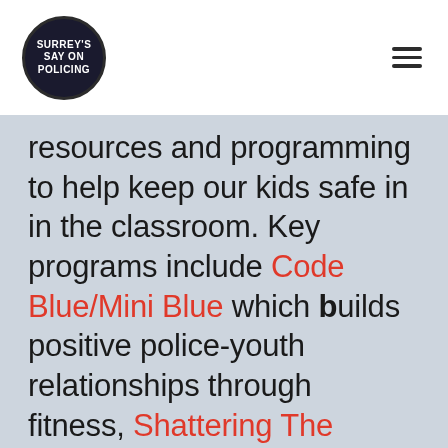Surrey's Say on Policing
resources and programming to help keep our kids safe in in the classroom. Key programs include Code Blue/Mini Blue which builds positive police-youth relationships through fitness, Shattering The Image, an anti-gang presentation which shares the true story of gang life in Surrey and its consequences, and Wraparound, a program